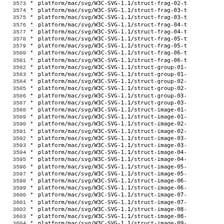3573 * platform/mac/svg/W3C-SVG-1.1/struct-frag-02-t
3574 * platform/mac/svg/W3C-SVG-1.1/struct-frag-03-t
3575 * platform/mac/svg/W3C-SVG-1.1/struct-frag-03-t
3576 * platform/mac/svg/W3C-SVG-1.1/struct-frag-04-t
3577 * platform/mac/svg/W3C-SVG-1.1/struct-frag-04-t
3578 * platform/mac/svg/W3C-SVG-1.1/struct-frag-05-t
3579 * platform/mac/svg/W3C-SVG-1.1/struct-frag-05-t
3580 * platform/mac/svg/W3C-SVG-1.1/struct-frag-06-t
3581 * platform/mac/svg/W3C-SVG-1.1/struct-frag-06-t
3582 * platform/mac/svg/W3C-SVG-1.1/struct-group-01-
3583 * platform/mac/svg/W3C-SVG-1.1/struct-group-01-
3584 * platform/mac/svg/W3C-SVG-1.1/struct-group-02-
3585 * platform/mac/svg/W3C-SVG-1.1/struct-group-02-
3586 * platform/mac/svg/W3C-SVG-1.1/struct-group-03-
3587 * platform/mac/svg/W3C-SVG-1.1/struct-group-03-
3588 * platform/mac/svg/W3C-SVG-1.1/struct-image-01-
3589 * platform/mac/svg/W3C-SVG-1.1/struct-image-01-
3590 * platform/mac/svg/W3C-SVG-1.1/struct-image-02-
3591 * platform/mac/svg/W3C-SVG-1.1/struct-image-02-
3592 * platform/mac/svg/W3C-SVG-1.1/struct-image-03-
3593 * platform/mac/svg/W3C-SVG-1.1/struct-image-03-
3594 * platform/mac/svg/W3C-SVG-1.1/struct-image-04-
3595 * platform/mac/svg/W3C-SVG-1.1/struct-image-04-
3596 * platform/mac/svg/W3C-SVG-1.1/struct-image-05-
3597 * platform/mac/svg/W3C-SVG-1.1/struct-image-05-
3598 * platform/mac/svg/W3C-SVG-1.1/struct-image-06-
3599 * platform/mac/svg/W3C-SVG-1.1/struct-image-06-
3600 * platform/mac/svg/W3C-SVG-1.1/struct-image-07-
3601 * platform/mac/svg/W3C-SVG-1.1/struct-image-07-
3602 * platform/mac/svg/W3C-SVG-1.1/struct-image-08-
3603 * platform/mac/svg/W3C-SVG-1.1/struct-image-08-
3604 * platform/mac/svg/W3C-SVG-1.1/struct-image-09-
3605 * platform/mac/svg/W3C-SVG-1.1/struct-image-